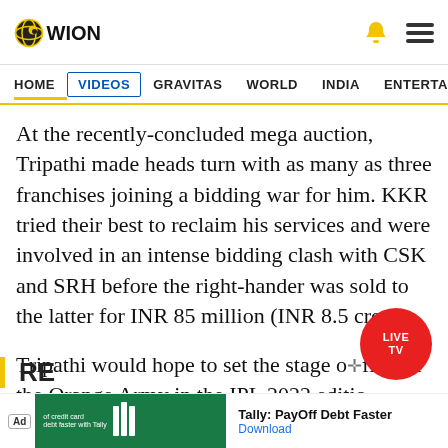WION
HOME | VIDEOS | GRAVITAS | WORLD | INDIA | ENTERTAINMENT | SPORTS
At the recently-concluded mega auction, Tripathi made heads turn with as many as three franchises joining a bidding war for him. KKR tried their best to reclaim his services and were involved in an intense bidding clash with CSK and SRH before the right-hander was sold to the latter for INR 85 million (INR 8.5 crore).
Tripathi would hope to set the stage on fire for the Orange Army in the IPL 2022 edition.
[Figure (other): LIVE TV red circular badge overlay]
[Figure (other): Advertisement banner: Tally PayOff Debt Faster with Download link]